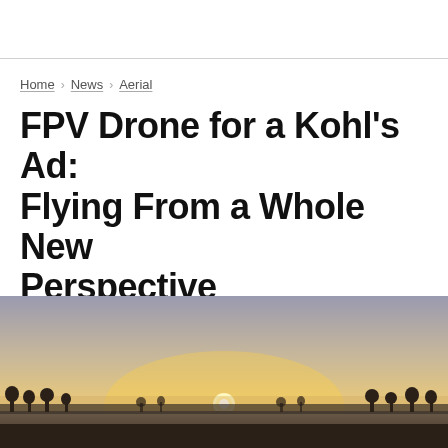Home > News > Aerial
FPV Drone for a Kohl's Ad: Flying From a Whole New Perspective
by Ty Poland
May 27, 2018 | 0
[Figure (photo): Aerial drone photo of a sunrise over a flat landscape with trees silhouetted on the horizon and a bright sun low in the sky]